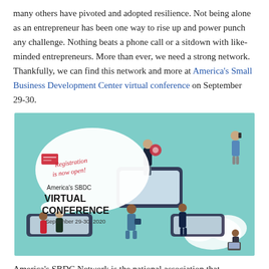many others have pivoted and adopted resilience. Not being alone as an entrepreneur has been one way to rise up and power punch any challenge. Nothing beats a phone call or a sitdown with like-minded entrepreneurs. More than ever, we need a strong network. Thankfully, we can find this network and more at America's Small Business Development Center virtual conference on September 29-30.
[Figure (illustration): America's SBDC Virtual Conference promotional image. Teal background with illustrated people standing on smartphones and cloud shapes. Speech bubble reads 'Registration is now open!' in red handwritten style. Text reads: America's SBDC VIRTUAL CONFERENCE September 29-30, 2020.]
America's SBDC Network is the national association that represents SBDCs throughout the country. It is one of many incredible small